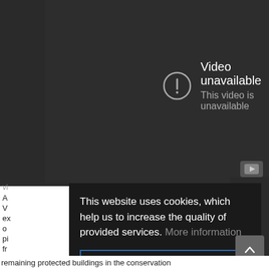[Figure (screenshot): YouTube video player showing 'Video unavailable' error message with warning icon circle and text 'This video is unavailable' on dark background, with YouTube logo icon in bottom right corner]
This website uses cookies, which help us to increase the quality of provided services. More information
I UNDERSTAND
remaining protected buildings in the conservation